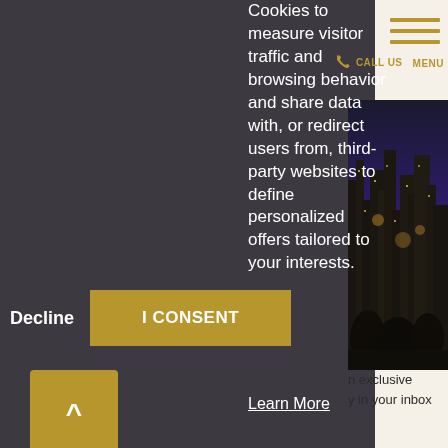Cookies to measure visitor traffic and browsing behavior and share data with, or redirect users from, third-party websites to define personalized offers tailored to your interests.
Decline
I CONSENT
Learn More
n exclusive
y in your inbox
[Figure (photo): City skyline at night with glowing lights, viewed from an elevated perspective]
CALL US
MENU